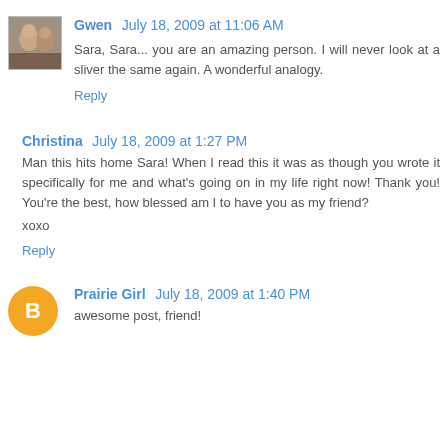[Figure (photo): Small avatar photo of Gwen, showing two people]
Gwen July 18, 2009 at 11:06 AM
Sara, Sara... you are an amazing person. I will never look at a sliver the same again. A wonderful analogy.
Reply
Christina July 18, 2009 at 1:27 PM
Man this hits home Sara! When I read this it was as though you wrote it specifically for me and what's going on in my life right now! Thank you! You're the best, how blessed am I to have you as my friend?
xoxo
Reply
[Figure (logo): Orange Blogger 'B' icon circle avatar for Prairie Girl]
Prairie Girl July 18, 2009 at 1:40 PM
awesome post, friend!